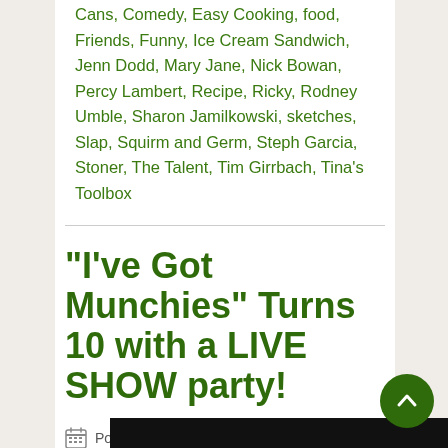Cans, Comedy, Easy Cooking, food, Friends, Funny, Ice Cream Sandwich, Jenn Dodd, Mary Jane, Nick Bowan, Percy Lambert, Recipe, Ricky, Rodney Umble, Sharon Jamilkowski, sketches, Slap, Squirm and Germ, Steph Garcia, Stoner, The Talent, Tim Girrbach, Tina's Toolbox
“I’ve Got Munchies” Turns 10 with a LIVE SHOW party!
Posted on June 1, 2014 | by Sharon | Posted in Live Shows, Other |